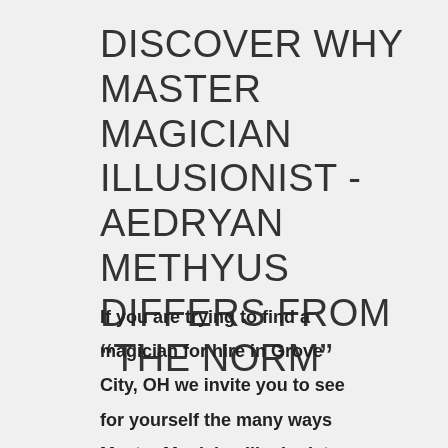DISCOVER WHY MASTER MAGICIAN ILLUSIONIST - AEDRYAN METHYUS DIFFERS FROM "THE NORM"
If you are trying to find a magician for hire in Grove City, OH we invite you to see for yourself the many ways Master Magician Illusionist -